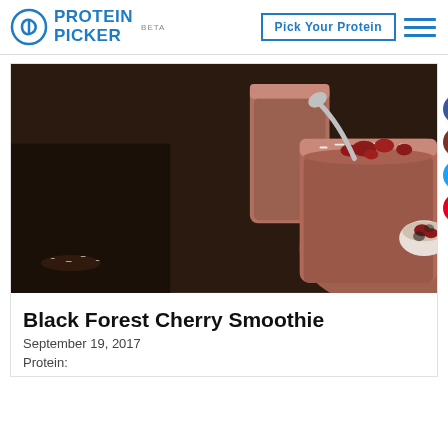PROTEIN PICKER BETA — Pick Your Protein
[Figure (photo): A glass mason jar filled with a chocolate-colored smoothie topped with dried cherries and shredded coconut, with a metal spoon. A second jar of smoothie in the background, and a bowl of cherries on the right side. Dark background with cocoa powder scattered on the surface.]
Black Forest Cherry Smoothie
September 19, 2017
Protein: